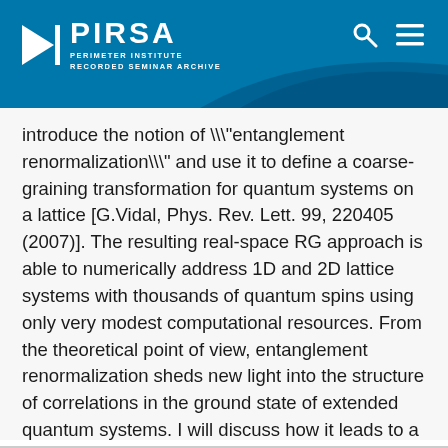[Figure (logo): PIRSA logo with Perimeter Institute Recorded Seminar Archive header on blue background with wave design and search/menu icons]
introduce the notion of \"entanglement renormalization\" and use it to define a coarse-graining transformation for quantum systems on a lattice [G.Vidal, Phys. Rev. Lett. 99, 220405 (2007)]. The resulting real-space RG approach is able to numerically address 1D and 2D lattice systems with thousands of quantum spins using only very modest computational resources. From the theoretical point of view, entanglement renormalization sheds new light into the structure of correlations in the ground state of extended quantum systems. I will discuss how it leads to a novel, efficient representation for the ground state of a system at a quantum critical point or with topological order.